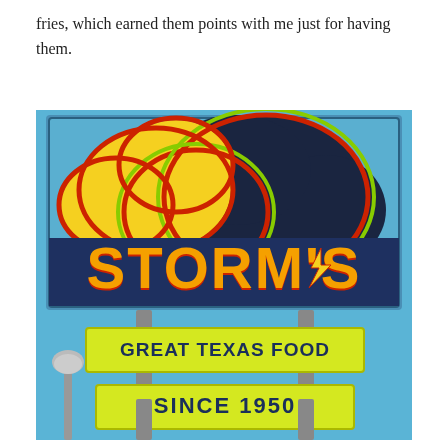fries, which earned them points with me just for having them.
[Figure (photo): Photograph of a Storm's restaurant sign with a colorful cloud and sun logo reading 'STORM'S' in orange letters, and two yellow signs below reading 'GREAT TEXAS FOOD' and 'SINCE 1950' in dark blue letters, against a blue sky background.]